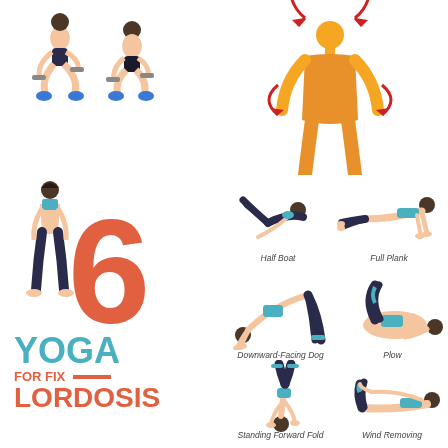[Figure (illustration): Top section showing exercise figures: two squatting figures on left, and a large orange front/back anatomy figure on right with red circular arrows indicating lordosis]
[Figure (illustration): Large orange/red number 6 with a female figure standing beside it]
[Figure (illustration): Half Boat yoga pose - woman balancing on tailbone with legs and arms extended]
Half Boat
[Figure (illustration): Full Plank yoga pose - woman in high plank position]
Full Plank
[Figure (illustration): Downward-Facing Dog yoga pose - woman in inverted V shape]
Downward-Facing Dog
[Figure (illustration): Plow yoga pose - woman lying with legs over head]
Plow
[Figure (illustration): Standing Forward Fold yoga pose - woman bending forward touching ground]
Standing Forward Fold
[Figure (illustration): Wind Removing yoga pose - woman lying on back hugging knees]
Wind Removing
6 YOGA FOR FIX LORDOSIS